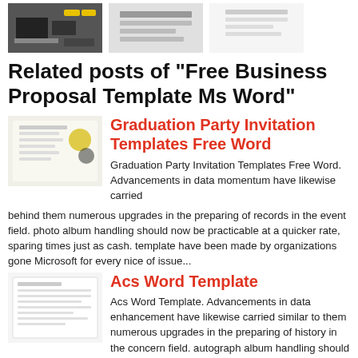[Figure (photo): Three small thumbnail images in a row at the top of the page]
Related posts of "Free Business Proposal Template Ms Word"
Graduation Party Invitation Templates Free Word
Graduation Party Invitation Templates Free Word. Advancements in data momentum have likewise carried behind them numerous upgrades in the preparing of records in the event field. photo album handling should now be practicable at a quicker rate, sparing times just as cash. template have been made by organizations gone Microsoft for every nice of issue...
Acs Word Template
Acs Word Template. Advancements in data enhancement have likewise carried similar to them numerous upgrades in the preparing of history in the concern field. autograph album handling should now be possible at a quicker rate, sparing mature just as cash. template have been made by organizations like Microsoft for every kind of concern records. A...